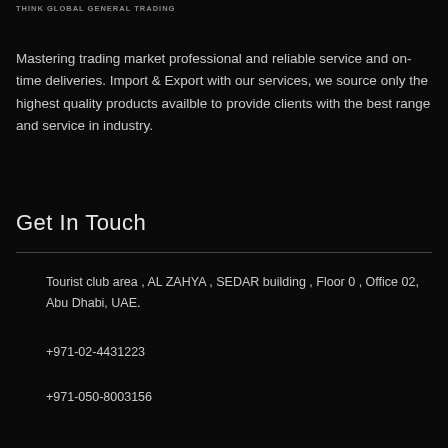THINK GLOBAL GENERAL TRADING
Mastering trading market professional and reliable service and on-time deliveries. Import & Export with our services, we source only the highest quality products availble to provide clients with the best range and service in industry.
Get In Touch
Tourist club area , AL ZAHYA , SEDAR building , Floor 0 , Office 02, Abu Dhabi, UAE.
+971-02-4431223
+971-050-8003156